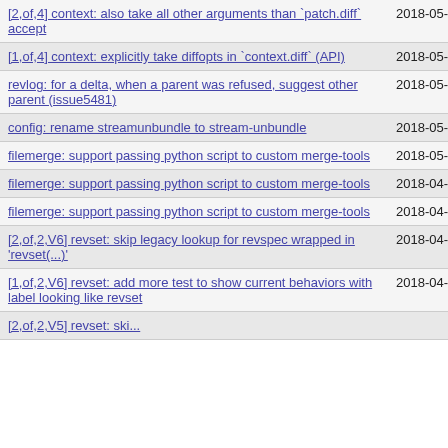[2,of,4] context: also take all other arguments than `patch.diff` accept | 2018-05-24 | Boris Feld
[1,of,4] context: explicitly take diffopts in `context.diff` (API) | 2018-05-24 | Boris Feld
revlog: for a delta, when a parent was refused, suggest other parent (issue5481) | 2018-05-14 | Paul Morelle
config: rename streamunbundle to stream-unbundle | 2018-05-14 | David Demelier
filemerge: support passing python script to custom merge-tools | 2018-05-01 | Tom Hindle
filemerge: support passing python script to custom merge-tools | 2018-04-18 | Tom Hindle
filemerge: support passing python script to custom merge-tools | 2018-04-17 | Tom Hindle
[2,of,2,V6] revset: skip legacy lookup for revspec wrapped in 'revset(...)' | 2018-04-17 | Boris Feld
[1,of,2,V6] revset: add more test to show current behaviors with label looking like revset | 2018-04-17 | Boris Feld
[2,of,2,V5] revset: ...